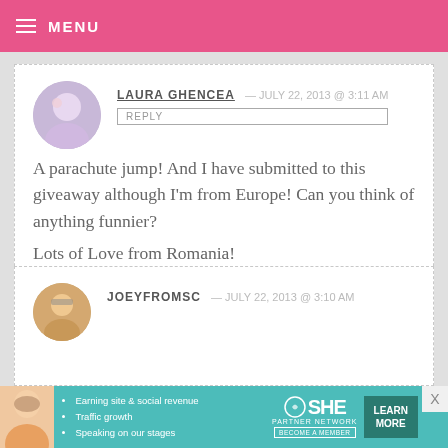MENU
LAURA GHENCEA — JULY 22, 2013 @ 3:11 AM
REPLY
A parachute jump! And I have submitted to this giveaway although I'm from Europe! Can you think of anything funnier?
Lots of Love from Romania!
JOEYFROMSC — JULY 22, 2013 @ 3:10 AM
[Figure (infographic): SHE Partner Network advertisement banner with bullet points: Earning site & social revenue, Traffic growth, Speaking on our stages. LEARN MORE button.]